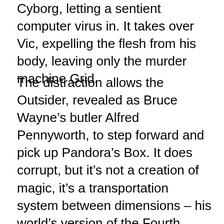Cyborg, letting a sentient computer virus in. It takes over Vic, expelling the flesh from his body, leaving only the murder machine Grid.
The distraction allows the Outsider, revealed as Bruce Wayne's butler Alfred Pennyworth, to step forward and pick up Pandora's Box. It does corrupt, but it's not a creation of magic, it's a transportation system between dimensions – his world's version of the Fourth World's Mother Box. Only someone from his world can open it. Which he does, creating a portal to … Earth 3. A twisted version of Aquaman is the first to step through – and immediately die. But his teammates are luckier.The Crime Syndicate of America are here, and ready to take over.